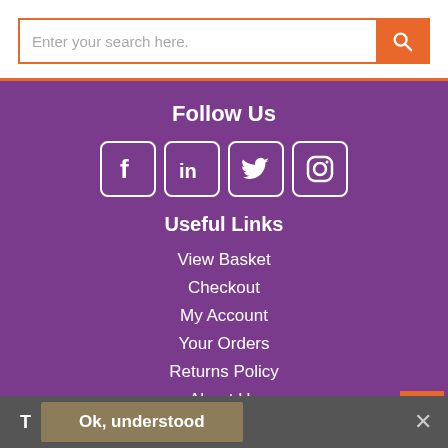Enter your search here.
Follow Us
[Figure (illustration): Social media icons: Facebook, LinkedIn, Twitter, Instagram in white on purple rounded-square backgrounds]
Useful Links
View Basket
Checkout
My Account
Your Orders
Returns Policy
About Us
Enquiries
Shipping
Login
Ok, understood